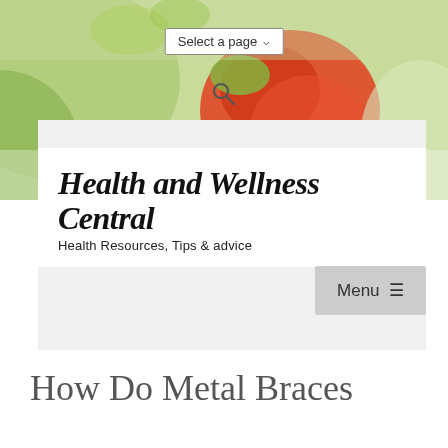[Figure (photo): Food background hero image with tomatoes, green vegetables and blurred colorful produce]
Select a page ▾
[Figure (screenshot): Search icon (magnifying glass)]
Health and Wellness Central
Health Resources, Tips & advice
Menu ≡
How Do Metal Braces